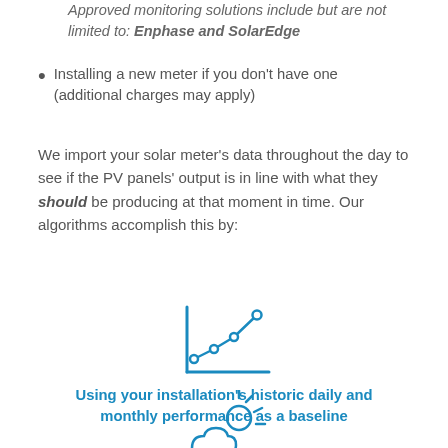Approved monitoring solutions include but are not limited to: Enphase and SolarEdge
Installing a new meter if you don't have one (additional charges may apply)
We import your solar meter's data throughout the day to see if the PV panels' output is in line with what they should be producing at that moment in time. Our algorithms accomplish this by:
[Figure (illustration): Line chart icon in blue showing an upward trending line with data points]
Using your installation's historic daily and monthly performance as a baseline
[Figure (illustration): Sun partially behind a cloud icon in blue with rays, weather icon]